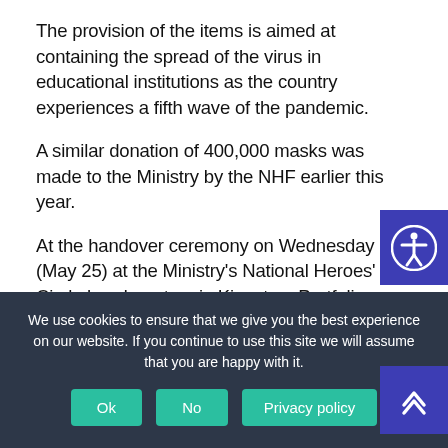The provision of the items is aimed at containing the spread of the virus in educational institutions as the country experiences a fifth wave of the pandemic.
A similar donation of 400,000 masks was made to the Ministry by the NHF earlier this year.
At the handover ceremony on Wednesday (May 25) at the Ministry's National Heroes' Circle headquarters in Kingston, Portfolio Minister, Hon. Fayval Williams, thanked the NHF and the Ministry of Health and Wellness, noting that the support is critical as students sit examinations.
We use cookies to ensure that we give you the best experience on our website. If you continue to use this site we will assume that you are happy with it.